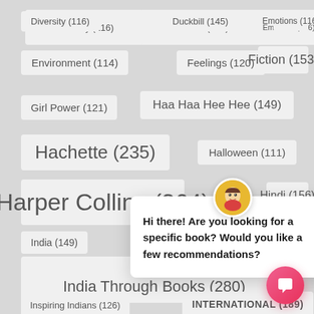Diversity (116)
Duckbill (145)
Emotions (116)
Environment (114)
Feelings (120)
Fiction (153)
Girl Power (121)
Haa Haa Hee Hee (149)
Hachette (235)
Halloween (111)
Harper Collins (364)
Hindi (156)
India (149)
Indian Children
India Through Books (280)
Inspiring Indians (126)
INTERNATIONAL (189)
Hi there! Are you looking for a specific book? Would you like a few recommendations?